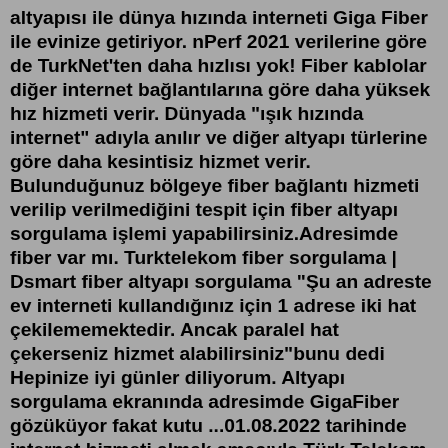altyapısı ile dünya hızında interneti Giga Fiber ile evinize getiriyor. nPerf 2021 verilerine göre de TurkNet'ten daha hızlısı yok! Fiber kablolar diğer internet bağlantılarına göre daha yüksek hız hizmeti verir. Dünyada "ışık hızında internet" adıyla anılır ve diğer altyapı türlerine göre daha kesintisiz hizmet verir. Bulunduğunuz bölgeye fiber bağlantı hizmeti verilip verilmediğini tespit için fiber altyapı sorgulama işlemi yapabilirsiniz.Adresimde fiber var mı. Turktelekom fiber sorgulama | Dsmart fiber altyapı sorgulama "Şu an adreste ev interneti kullandığınız için 1 adrese iki hat çekilememektedir. Ancak paralel hat çekerseniz hizmet alabilirsiniz"bunu dedi Hepinize iyi günler diliyorum. Altyapı sorgulama ekranında adresimde GigaFiber gözüküyor fakat kutu ...01.08.2022 tarihinde internet hizmeti almak amacıyla Türk Telekom Sinop İl Müdürlüğüne giderek başvuru yaptım. Gerekli belgeleri imzaladım. 02.08.2022 tarihinde 08.30-13.30 saatleri arasında randevu aldım ve teknik ekip gelerek bu saatler arasında altyapıda gerekli bağlantı,